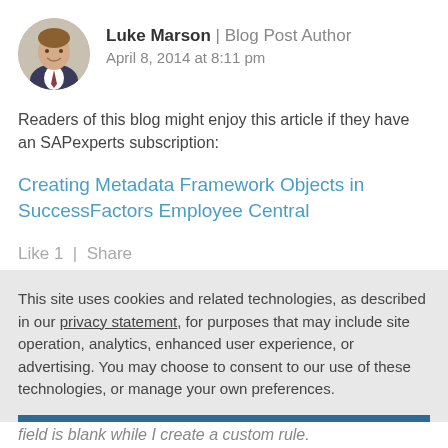Luke Marson | Blog Post Author
April 8, 2014 at 8:11 pm
Readers of this blog might enjoy this article if they have an SAPexperts subscription:
Creating Metadata Framework Objects in SuccessFactors Employee Central
Like 1  |  Share
This site uses cookies and related technologies, as described in our privacy statement, for purposes that may include site operation, analytics, enhanced user experience, or advertising. You may choose to consent to our use of these technologies, or manage your own preferences.
Accept Cookies
More Information
Privacy Policy | Powered by: TrustArc
field is blank while I create a custom rule.